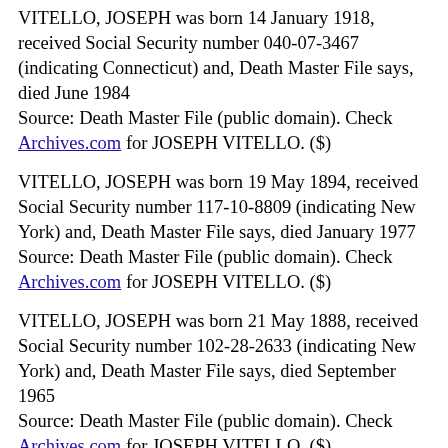VITELLO, JOSEPH was born 14 January 1918, received Social Security number 040-07-3467 (indicating Connecticut) and, Death Master File says, died June 1984
Source: Death Master File (public domain). Check Archives.com for JOSEPH VITELLO. ($)
VITELLO, JOSEPH was born 19 May 1894, received Social Security number 117-10-8809 (indicating New York) and, Death Master File says, died January 1977
Source: Death Master File (public domain). Check Archives.com for JOSEPH VITELLO. ($)
VITELLO, JOSEPH was born 21 May 1888, received Social Security number 102-28-2633 (indicating New York) and, Death Master File says, died September 1965
Source: Death Master File (public domain). Check Archives.com for JOSEPH VITELLO. ($)
VITELLO, JOSEPH was born 22 February 1925, received Social Security number 395-12-6534...